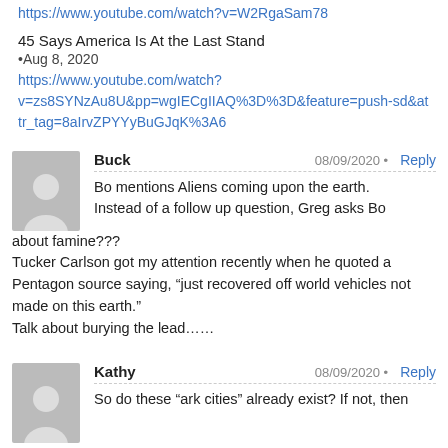https://www.youtube.com/watch?v=W2RgaSam78
45 Says America Is At the Last Stand
•Aug 8, 2020
https://www.youtube.com/watch?v=zs8SYNzAu8U&pp=wgIECgIIAQ%3D%3D&feature=push-sd&attr_tag=8aIrvZPYYyBuGJqK%3A6
Buck
08/09/2020 • Reply
Bo mentions Aliens coming upon the earth. Instead of a follow up question, Greg asks Bo about famine???
Tucker Carlson got my attention recently when he quoted a Pentagon source saying, "just recovered off world vehicles not made on this earth."
Talk about burying the lead……
Kathy
08/09/2020 • Reply
So do these "ark cities" already exist? If not, then